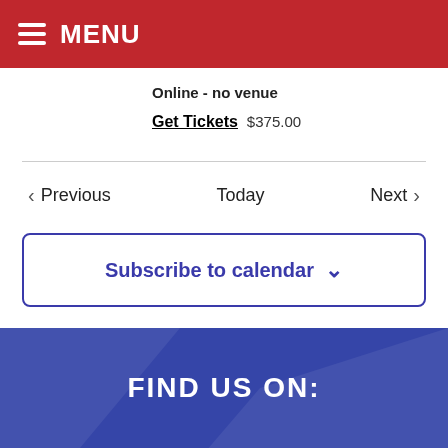MENU
Online - no venue
Get Tickets  $375.00
Previous
Today
Next
Subscribe to calendar
FIND US ON: